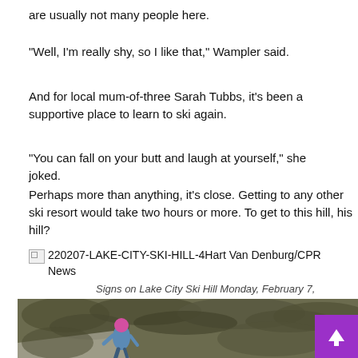are usually not many people here.
“Well, I’m really shy, so I like that,” Wampler said.
And for local mum-of-three Sarah Tubbs, it’s been a supportive place to learn to ski again.
“You can fall on your butt and laugh at yourself,” she joked.
Perhaps more than anything, it’s close. Getting to any other ski resort would take two hours or more. To get to this hill, his hill?
[Figure (photo): Broken image placeholder with label: 220207-LAKE-CITY-SKI-HILL-4Hart Van Denburg/CPR News]
Signs on Lake City Ski Hill Monday, February 7, 2022.
[Figure (photo): Photo of a skier in a blue jacket and pink helmet on a ski slope with trees in the background.]